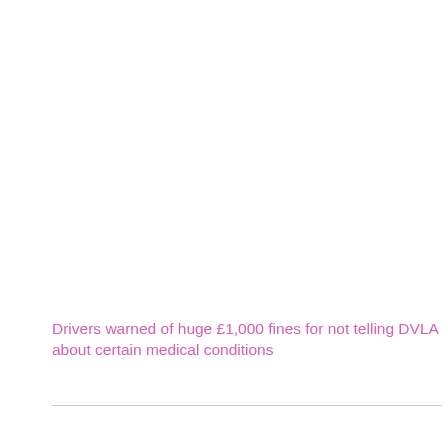Drivers warned of huge £1,000 fines for not telling DVLA about certain medical conditions